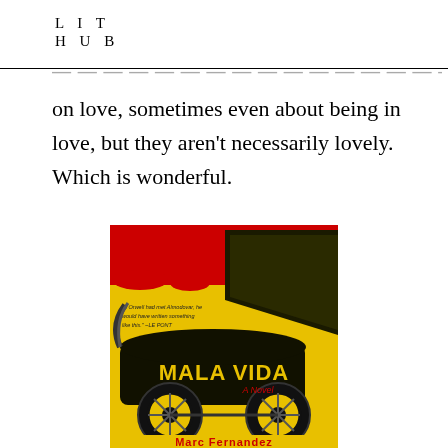LIT HUB
on love, sometimes even about being in love, but they aren't necessarily lovely. Which is wonderful.
[Figure (photo): Book cover of 'Mala Vida: A Novel' by Marc Fernandez, featuring a vintage baby carriage/pram in high-contrast yellow, red, and black colors with a quote reading 'If Orwell had met Almodovar, he would have written something like this.' - LE PONT]